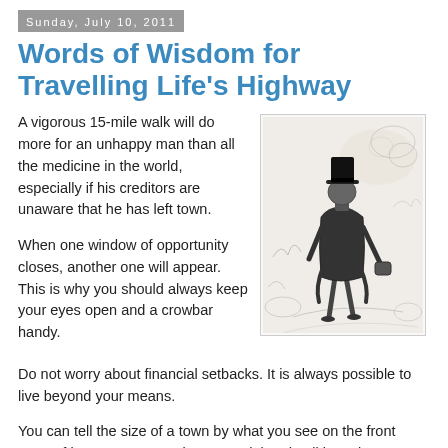Sunday, July 10, 2011
Words of Wisdom for Travelling Life's Highway
A vigorous 15-mile walk will do more for an unhappy man than all the medicine in the world, especially if his creditors are unaware that he has left town.
[Figure (illustration): Black and white vintage illustration of a man in a top hat and long coat, seen from behind, standing on a path with foliage around him.]
When one window of opportunity closes, another one will appear. This is why you should always keep your eyes open and a crowbar handy.
Do not worry about financial setbacks. It is always possible to live beyond your means.
You can tell the size of a town by what you see on the front page of its newspaper. Crime, scandal and politics -- large town. Crop reports and school recitals -- small town. If the